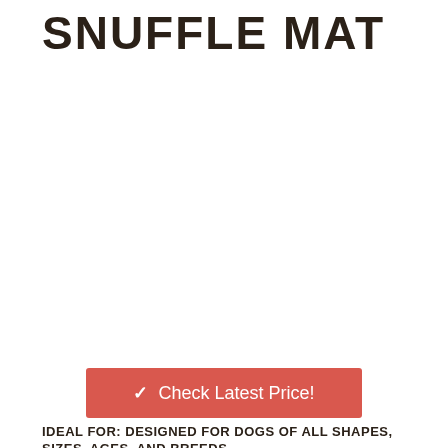SNUFFLE MAT
Check Latest Price!
IDEAL FOR: DESIGNED FOR DOGS OF ALL SHAPES, SIZES, AGES, AND BREEDS